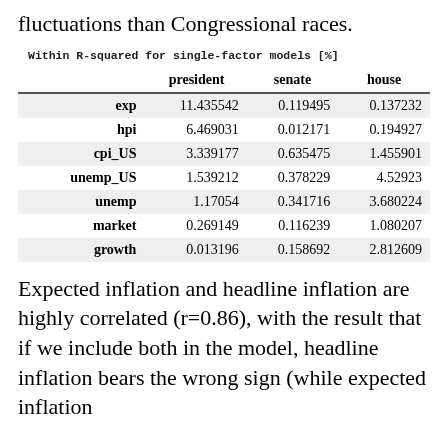fluctuations than Congressional races.
Within R-squared for single-factor models [%]
|  | president | senate | house |
| --- | --- | --- | --- |
| exp | 11.435542 | 0.119495 | 0.137232 |
| hpi | 6.469031 | 0.012171 | 0.194927 |
| cpi_US | 3.339177 | 0.635475 | 1.455901 |
| unemp_US | 1.539212 | 0.378229 | 4.52923 |
| unemp | 1.17054 | 0.341716 | 3.680224 |
| market | 0.269149 | 0.116239 | 1.080207 |
| growth | 0.013196 | 0.158692 | 2.812609 |
Expected inflation and headline inflation are highly correlated (r=0.86), with the result that if we include both in the model, headline inflation bears the wrong sign (while expected inflation